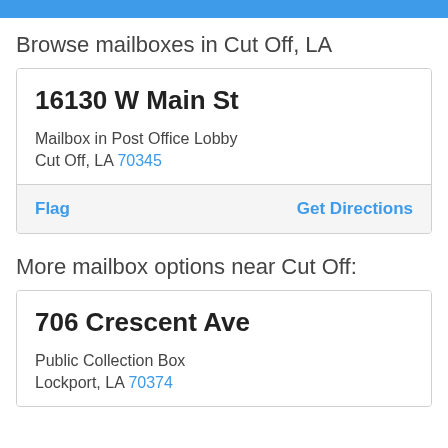Browse mailboxes in Cut Off, LA
16130 W Main St
Mailbox in Post Office Lobby
Cut Off, LA 70345
Flag   Get Directions
More mailbox options near Cut Off:
706 Crescent Ave
Public Collection Box
Lockport, LA 70374